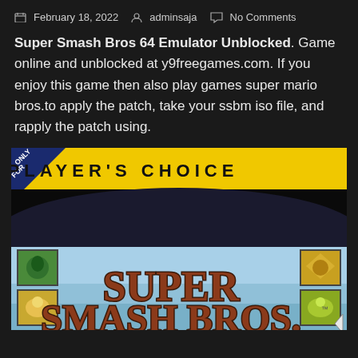February 18, 2022  adminsaja  No Comments
Super Smash Bros 64 Emulator Unblocked. Game online and unblocked at y9freegames.com. If you enjoy this game then also play games super mario bros.to apply the patch, take your ssbm iso file, and rapply the patch using.
[Figure (photo): Nintendo GameCube Player's Choice box art for Super Smash Bros Melee, showing the yellow Player's Choice banner, Nintendo GameCube logo, character thumbnails on the left and right sides, and the large Super Smash Bros. logo in the lower portion.]